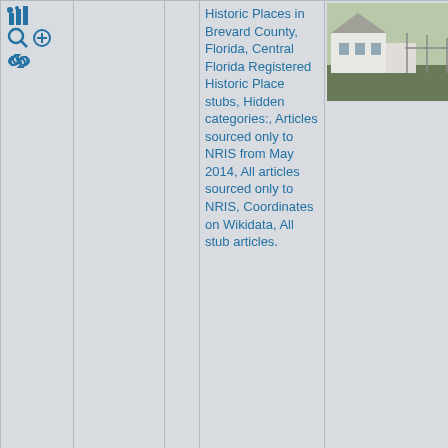| # | Name | Link | Categories | Image |
| --- | --- | --- | --- | --- |
| (icons) |  |  | Historic Places in Brevard County, Florida, Central Florida Registered Historic Place stubs, Hidden categories:, Articles sourced only to NRIS from May 2014, All articles sourced only to NRIS, Coordinates on Wikidata, All stub articles. | (photo) |
| 4: 1.2mi | H. S. Williams House | (link) | Houses in Brevard County, Florida | (photo) |